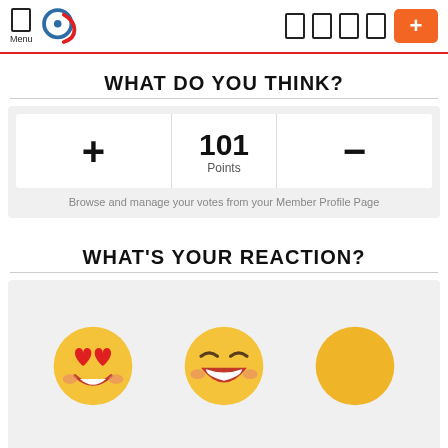Menu [logo] [nav icons] [+ button]
WHAT DO YOU THINK?
+ 101 Points -
Browse and manage your votes from your Member Profile Page
WHAT'S YOUR REACTION?
[Figure (illustration): Three emoji faces: heart-eyes emoji, laughing emoji, and a plain yellow circle emoji]